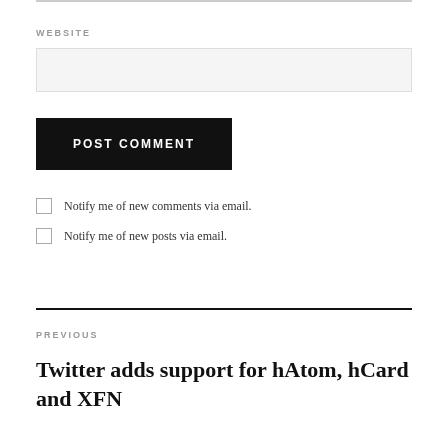WEBSITE
POST COMMENT
Notify me of new comments via email.
Notify me of new posts via email.
PREVIOUS
Twitter adds support for hAtom, hCard and XFN